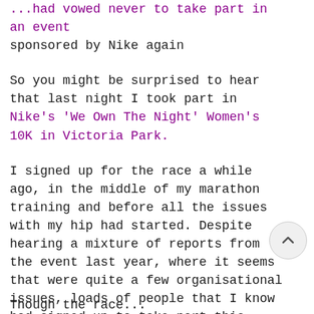...had vowed never to take part in an event sponsored by Nike again
So you might be surprised to hear that last night I took part in Nike's 'We Own The Night' Women's 10K in Victoria Park.
I signed up for the race a while ago, in the middle of my marathon training and before all the issues with my hip had started. Despite hearing a mixture of reports from the event last year, where it seems that were quite a few organisational issues, loads of people that I know had signed up to take part this year. It sounded like it was going to fun, if nothing else. I thought that running in the park with thousands of other women could be way to overcome my dislike of both the park and the distance.
Though the race...